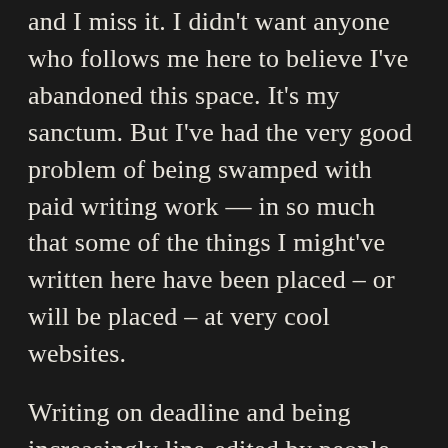and I miss it. I didn't want anyone who follows me here to believe I've abandoned this space. It's my sanctum. But I've had the very good problem of being swamped with paid writing work — in so much that some of the things I might've written here have been placed – or will be placed – at very cool websites.
Writing on deadline and being increasingly line-edited by people committed to making the work better than I can make it on my own (disjointed as my trains of thought have become with the noise of my toddler, the relocation of her dad to town, after years living on the other